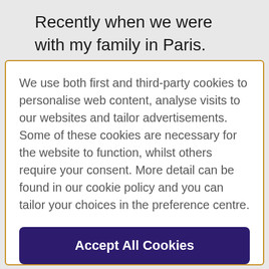Recently when we were with my family in Paris. We would like visited Lover to
We use both first and third-party cookies to personalise web content, analyse visits to our websites and tailor advertisements. Some of these cookies are necessary for the website to function, whilst others require your consent. More detail can be found in our cookie policy and you can tailor your choices in the preference centre.
Accept All Cookies
Cookies Settings